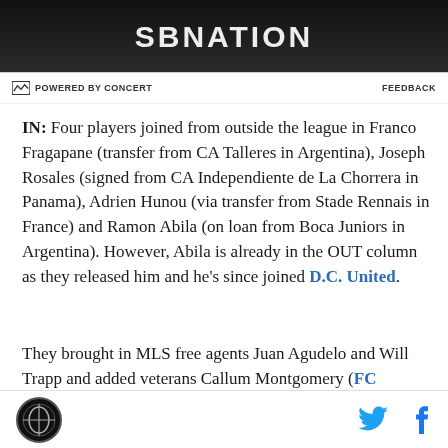[Figure (photo): Dark image with SBNation logo/text at top]
POWERED BY CONCERT   FEEDBACK
IN: Four players joined from outside the league in Franco Fragapane (transfer from CA Talleres in Argentina), Joseph Rosales (signed from CA Independiente de La Chorrera in Panama), Adrien Hunou (via transfer from Stade Rennais in France) and Ramon Abila (on loan from Boca Juniors in Argentina). However, Abila is already in the OUT column as they released him and he's since joined D.C. United.
They brought in MLS free agents Juan Agudelo and Will Trapp and added veterans Callum Montgomery (FC Dallas), Jukka Raitala (CF Montreal) and Niko
SBNation logo, Twitter icon, Facebook icon